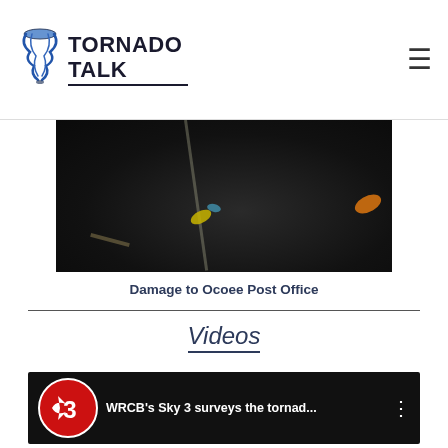TORNADO TALK (navigation header with hamburger menu)
[Figure (photo): Dark aerial or ground-level photo showing cracked asphalt road damage with debris, leaves, and a faint road stripe — damage to Ocoee Post Office area]
Damage to Ocoee Post Office
Videos
[Figure (screenshot): WRCB Channel 3 video thumbnail: red circle logo with arrow 3, white text reading WRCB's Sky 3 surveys the tornad... with vertical dots menu, black background]